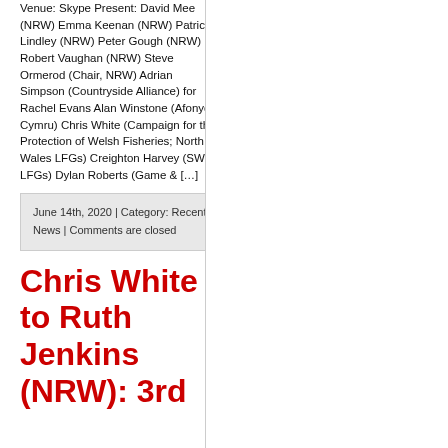Venue: Skype Present: David Mee (NRW) Emma Keenan (NRW) Patrick Lindley (NRW) Peter Gough (NRW) Robert Vaughan (NRW) Steve Ormerod (Chair, NRW) Adrian Simpson (Countryside Alliance) for Rachel Evans Alan Winstone (Afonydd Cymru) Chris White (Campaign for the Protection of Welsh Fisheries; North Wales LFGs) Creighton Harvey (SW LFGs) Dylan Roberts (Game & […]
June 14th, 2020 | Category: Recent News | Comments are closed
Chris White to Ruth Jenkins (NRW): 3rd